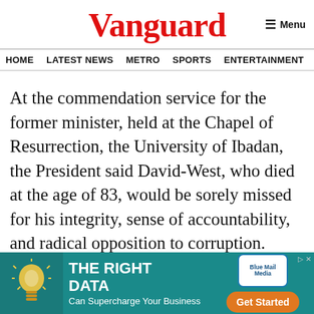Vanguard
HOME  LATEST NEWS  METRO  SPORTS  ENTERTAINMENT  VIDEOS
At the commendation service for the former minister, held at the Chapel of Resurrection, the University of Ibadan, the President said David-West, who died at the age of 83, would be sorely missed for his integrity, sense of accountability, and radical opposition to corruption.
ement issued by the Deputy Director,
[Figure (advertisement): THE RIGHT DATA - Can Supercharge Your Business - Blue Mail Media advertisement with lightbulb icon and Get Started button]